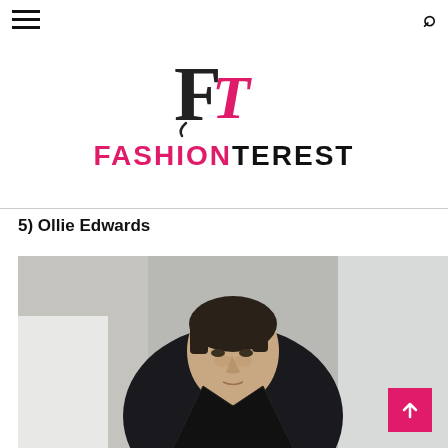Fashionterest - navigation header
[Figure (logo): Fashionterest logo with stylized FT monogram in black and pink, and FASHIONTEREST wordmark below]
5) Ollie Edwards
[Figure (photo): Young male model wearing a black turtleneck and dark coat, photographed against a concrete/light grey studio background]